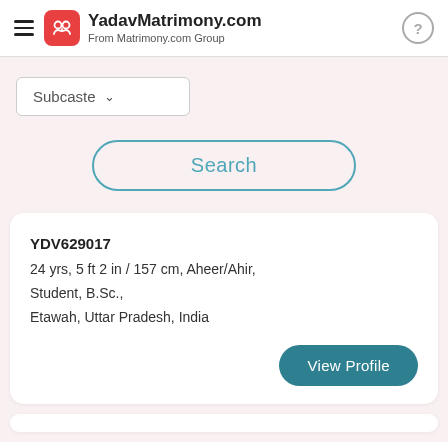YadavMatrimony.com From Matrimony.com Group
Subcaste
Search
YDV629017
24 yrs, 5 ft 2 in / 157 cm, Aheer/Ahir, Student, B.Sc., Etawah, Uttar Pradesh, India
View Profile